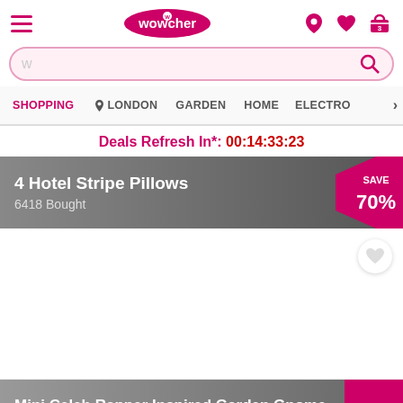Wowcher app header with hamburger menu, logo, location, wishlist, and cart icons
W [search bar placeholder]
SHOPPING | LONDON | GARDEN | HOME | ELECTRO >
Deals Refresh In*: 00:14:33:23
4 Hotel Stripe Pillows
6418 Bought
[Figure (other): SAVE 70% badge on dark grey product card background]
[Figure (photo): White product image area with heart/wishlist button in top right corner]
Mini Celeb Rapper Inspired Garden Gnome